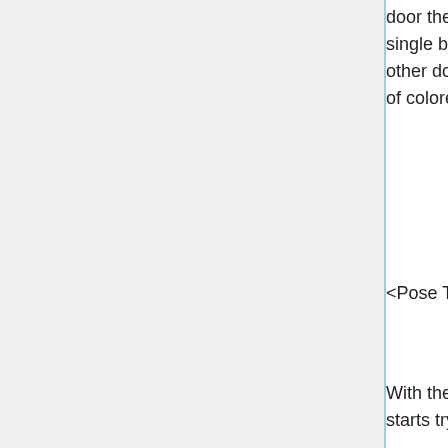door they entered from is probably the plainest, simply being white with a single black dot. Perhaps it is a clue, or perhaps it is just a red herring. No other door has a single dot on it, though some doors have differing numbers of colored dots, along with all kinds of weirdly patterned ones.
<Pose Tracker> Fuu Hououji [Infinity Institute (9)] has posed.
With the door they entered through being white with a single black dot, Fuu starts trying to find a door which is black with limited white markings.